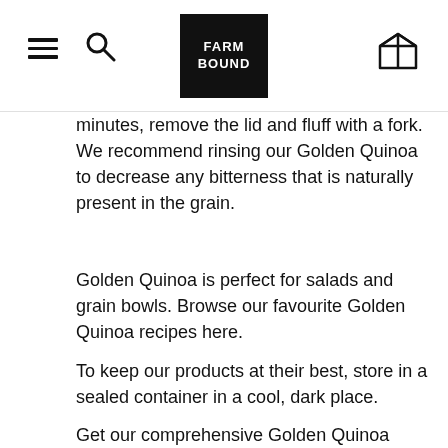FARM BOUND
minutes, remove the lid and fluff with a fork. We recommend rinsing our Golden Quinoa to decrease any bitterness that is naturally present in the grain.
Golden Quinoa is perfect for salads and grain bowls. Browse our favourite Golden Quinoa recipes here.
To keep our products at their best, store in a sealed container in a cool, dark place.
Get our comprehensive Golden Quinoa Cooking Guide, including how to get the best results in an Instant Pot, here.